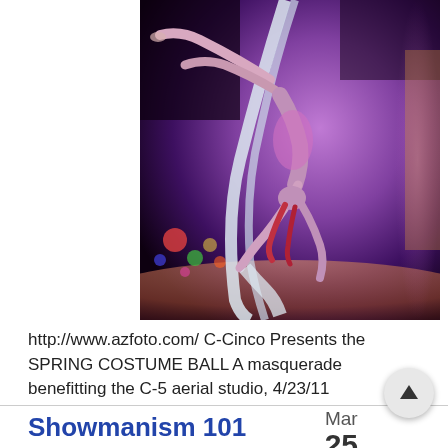[Figure (photo): An aerial acrobat performing on silk fabric, photographed upside-down. The performer wears a purple/pink costume and is dramatically lit against a dark background with colorful bokeh lights.]
http://www.azfoto.com/ C-Cinco Presents the SPRING COSTUME BALL A masquerade benefitting the C-5 aerial studio, 4/23/11
Showmanism 101
Mar 25